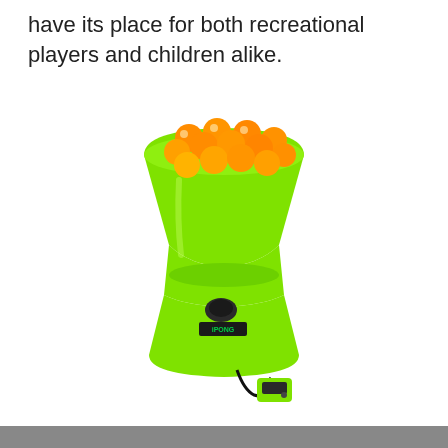have its place for both recreational players and children alike.
[Figure (photo): A bright green hourglass-shaped table tennis ball launcher (iPong brand) filled with orange ping pong balls at the top, with a small green remote control connected by a black cable at the base.]